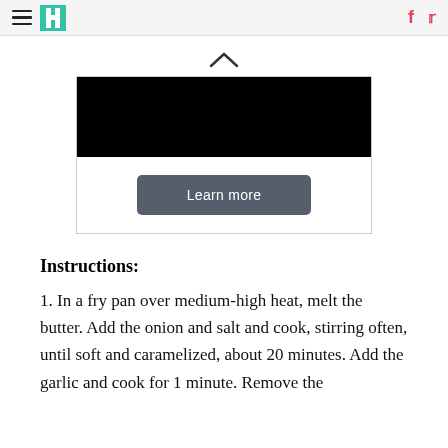HuffPost navigation and social icons
[Figure (other): Advertisement block with black image area and Learn more button]
Instructions:
1. In a fry pan over medium-high heat, melt the butter. Add the onion and salt and cook, stirring often, until soft and caramelized, about 20 minutes. Add the garlic and cook for 1 minute. Remove the